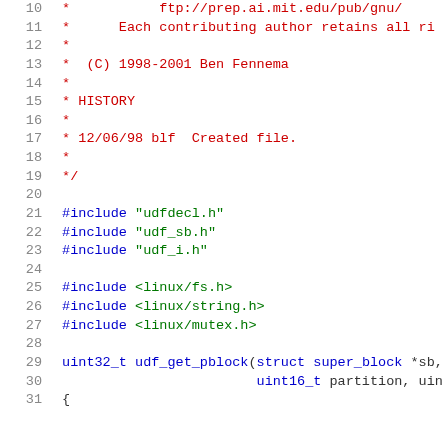10  *           ftp://prep.ai.mit.edu/pub/gnu/
11  *      Each contributing author retains all ri
12  *
13  * (C) 1998-2001 Ben Fennema
14  *
15  * HISTORY
16  *
17  * 12/06/98 blf  Created file.
18  *
19  */
20
21  #include "udfdecl.h"
22  #include "udf_sb.h"
23  #include "udf_i.h"
24
25  #include <linux/fs.h>
26  #include <linux/string.h>
27  #include <linux/mutex.h>
28
29  uint32_t udf_get_pblock(struct super_block *sb,
30                          uint16_t partition, uin
31  {